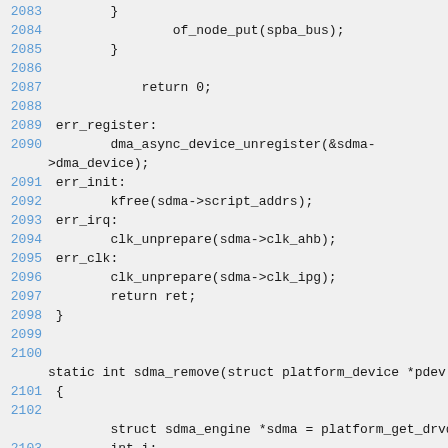Source code listing lines 2083-2104, C kernel driver code for SDMA engine
2083    }
2084            of_node_put(spba_bus);
2085        }
2086
2087            return 0;
2088
2089 err_register:
2090        dma_async_device_unregister(&sdma->dma_device);
2091 err_init:
2092        kfree(sdma->script_addrs);
2093 err_irq:
2094        clk_unprepare(sdma->clk_ahb);
2095 err_clk:
2096        clk_unprepare(sdma->clk_ipg);
2097        return ret;
2098 }
2099
2100
static int sdma_remove(struct platform_device *pdev)
2101 {
2102
        struct sdma_engine *sdma = platform_get_drvdata(
2103        int i;
2104